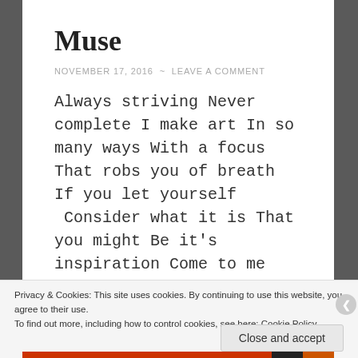Muse
NOVEMBER 17, 2016  ~  LEAVE A COMMENT
Always striving Never complete I make art In so many ways With a focus That robs you of breath If you let yourself  Consider what it is That you might Be it's inspiration Come to me Every ounce of courage Hold nothing back You might settle Out of fear But here in unknown territory You   Continue reading
Privacy & Cookies: This site uses cookies. By continuing to use this website, you agree to their use.
To find out more, including how to control cookies, see here: Cookie Policy
Close and accept